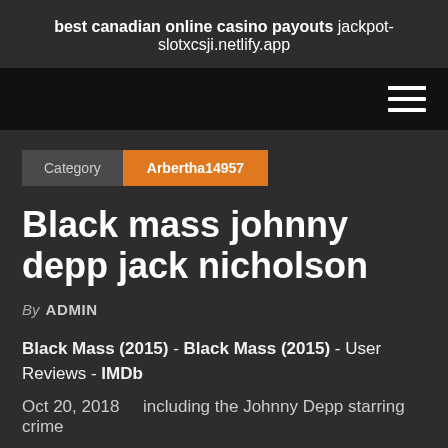best canadian online casino payouts
jackpot-slotxcsji.netlify.app
[Figure (other): Navigation bar with hamburger menu icon (three horizontal white lines) on black background]
Category  Arbertha14957
Black mass johnny depp jack nicholson
By ADMIN
Black Mass (2015) - Black Mass (2015) - User Reviews - IMDb
Oct 20, 2018 ... including the Johnny Depp starring crime